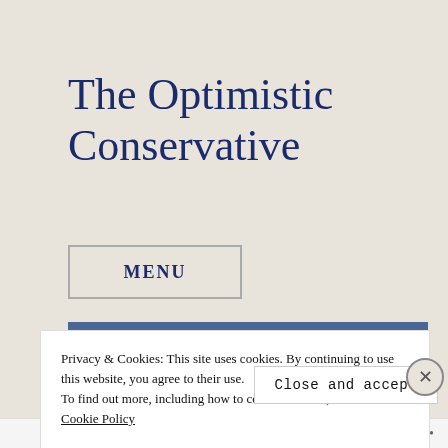The Optimistic Conservative
MENU
Privacy & Cookies: This site uses cookies. By continuing to use this website, you agree to their use.
To find out more, including how to control cookies, see here:
Cookie Policy
Close and accept
Follow ...